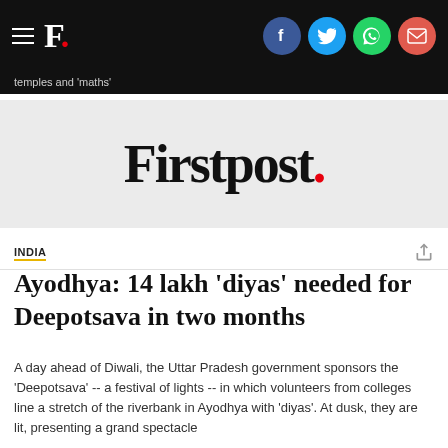F. [Firstpost logo] | temples and 'maths'
[Figure (logo): Firstpost wordmark logo in large serif font with red period]
INDIA
Ayodhya: 14 lakh 'diyas' needed for Deepotsava in two months
A day ahead of Diwali, the Uttar Pradesh government sponsors the 'Deepotsava' -- a festival of lights -- in which volunteers from colleges line a stretch of the riverbank in Ayodhya with 'diyas'. At dusk, they are lit, presenting a grand spectacle